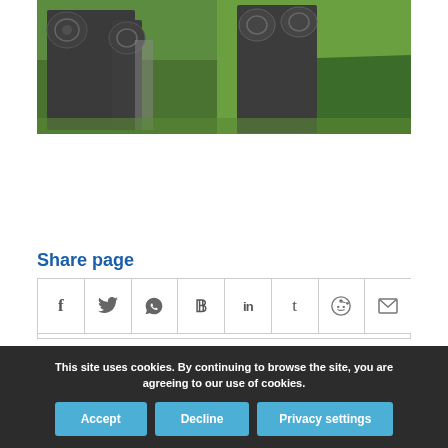[Figure (photo): Photo showing old stone gravestones with decorative carved scrolls/volutes, placed on green grass in bright sunlight. The shadows of the gravestones fall on the grass to the right.]
Share page
[Figure (infographic): Row of 8 social share icon buttons: Facebook (f), Twitter (bird), WhatsApp (phone), Pinterest (P), LinkedIn (in), Tumblr (t), Reddit (alien), Email (envelope)]
This site uses cookies. By continuing to browse the site, you are agreeing to our use of cookies.
Accept | Decline | Privacy settings